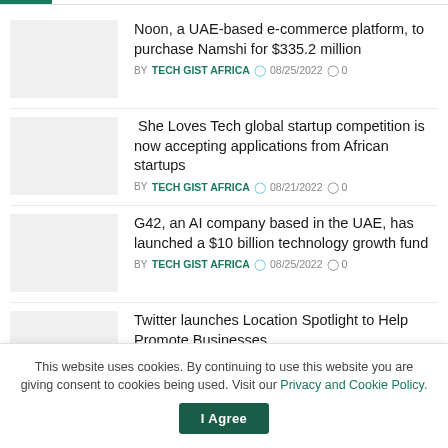Noon, a UAE-based e-commerce platform, to purchase Namshi for $335.2 million BY TECH GIST AFRICA 08/25/2022 0
She Loves Tech global startup competition is now accepting applications from African startups BY TECH GIST AFRICA 08/21/2022 0
G42, an AI company based in the UAE, has launched a $10 billion technology growth fund BY TECH GIST AFRICA 08/25/2022 0
Twitter launches Location Spotlight to Help Promote Businesses BY TECH GIST AFRICA 08/17/2022 0
This website uses cookies. By continuing to use this website you are giving consent to cookies being used. Visit our Privacy and Cookie Policy.